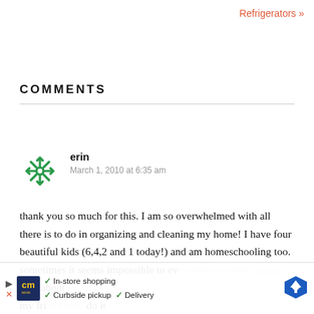Refrigerators »
COMMENTS
erin
March 1, 2010 at 6:35 am
thank you so much for this. I am so overwhelmed with all there is to do in organizing and cleaning my home! I have four beautiful kids (6,4,2 and 1 today!) and am homeschooling too. sometimes it seems impossible to ev... about my fri... do it